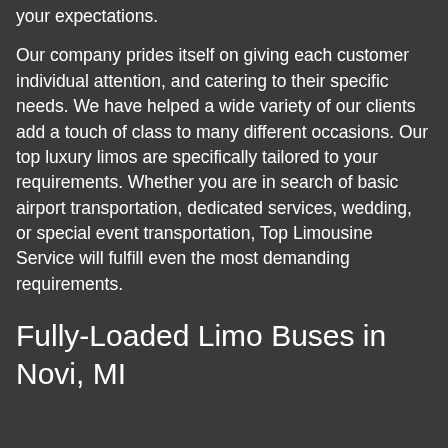your expectations.
Our company prides itself on giving each customer individual attention, and catering to their specific needs. We have helped a wide variety of our clients add a touch of class to many different occasions. Our top luxury limos are specifically tailored to your requirements. Whether you are in search of basic airport transportation, dedicated services, wedding, or special event transportation, Top Limousine Service will fulfill even the most demanding requirements.
Fully-Loaded Limo Buses in Novi, MI